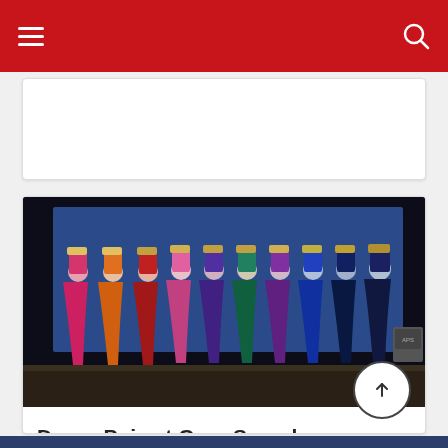Navigation bar with hamburger menu and search icon
[Figure (photo): Advertisement placeholder card (white rectangle)]
[Figure (photo): Group of performers on stage wearing colorful traditional Indian sarees and turbans, dancing in a line against a blue LED screen background — from Durga Puja celebration at Gaur Saundaryam]
Durga Puja at Gaur Saundaryam was an all inclusive affair..